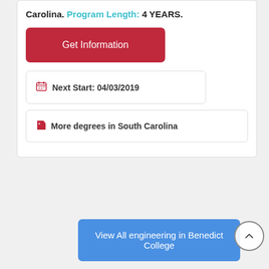Carolina. Program Length: 4 YEARS.
[Figure (other): Red 'Get Information' button]
Next Start: 04/03/2019
More degrees in South Carolina
View All engineering in Benedict College